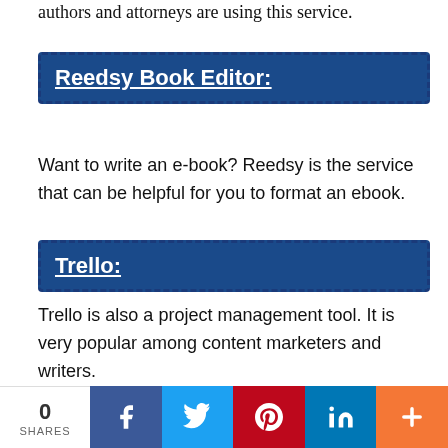authors and attorneys are using this service.
Reedsy Book Editor:
Want to write an e-book? Reedsy is the service that can be helpful for you to format an ebook.
Trello:
Trello is also a project management tool. It is very popular among content marketers and writers.
Grammarly:
0 SHARES [Facebook] [Twitter] [Pinterest] [LinkedIn] [More]